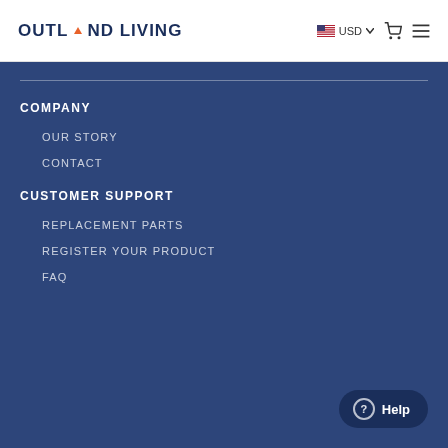OUTLAND LIVING | USD | Cart | Menu
COMPANY
OUR STORY
CONTACT
CUSTOMER SUPPORT
REPLACEMENT PARTS
REGISTER YOUR PRODUCT
FAQ